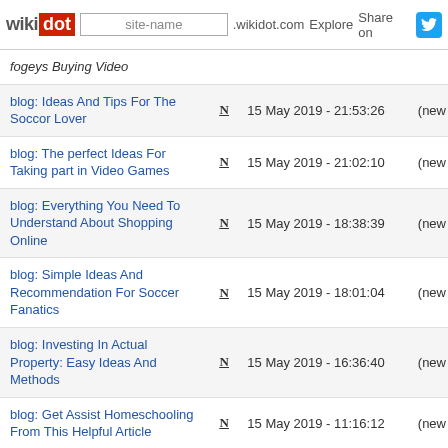wikidot | site-name .wikidot.com | Explore | Share on Twitter
fogeys Buying Video
blog: Ideas And Tips For The Soccor Lover | N | 15 May 2019 - 21:53:26 | (new
blog: The perfect Ideas For Taking part in Video Games | N | 15 May 2019 - 21:02:10 | (new
blog: Everything You Need To Understand About Shopping Online | N | 15 May 2019 - 18:38:39 | (new
blog: Simple Ideas And Recommendation For Soccer Fanatics | N | 15 May 2019 - 18:01:04 | (new
blog: Investing In Actual Property: Easy Ideas And Methods | N | 15 May 2019 - 16:36:40 | (new
blog: Get Assist Homeschooling From This Helpful Article | N | 15 May 2019 - 11:16:12 | (new
blog: Want To Master Video Games? Read This Piece | N | 15 May 2019 - 06:16:38 | (new
blog: A Good Parental Guide TO | N | 15 May 2019 - 01:19:52 | (new